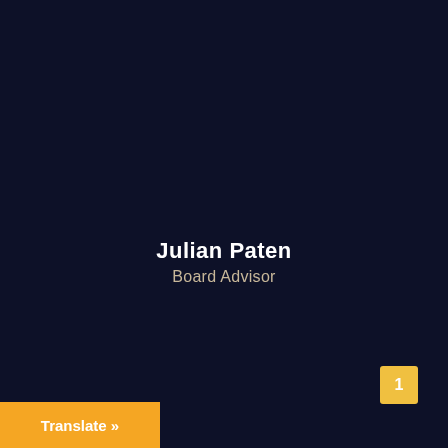Julian Paten
Board Advisor
1
Translate »